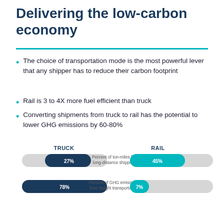Delivering the low-carbon economy
The choice of transportation mode is the most powerful lever that any shipper has to reduce their carbon footprint
Rail is 3 to 4X more fuel efficient than truck
Converting shipments from truck to rail has the potential to lower GHG emissions by 60-80%
[Figure (infographic): Horizontal bar comparison infographic showing TRUCK vs RAIL. Two rows: (1) Percent of ton-miles for long-distance shipping: TRUCK 27%, RAIL 45%. (2) Percent of GHG emissions from freight transportation: TRUCK 78%, RAIL 7%. Truck bars are dark navy blue, RAIL bars are teal. Both rows have a gray rounded background bar.]